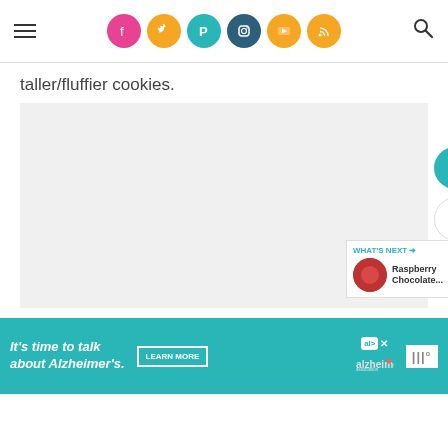Navigation header with hamburger menu, social media icons (Facebook, Twitter, Pinterest, Instagram, YouTube, RSS), and search icon
taller/fluffier cookies.
[Figure (photo): Large image placeholder area with light gray background, representing a food/cookie photo. Side buttons include a heart (favorite) button in teal and a share button in white. A 'WHAT'S NEXT' panel shows 'Raspberry Chocolate...' with a thumbnail.]
[Figure (other): Advertisement banner: 'It's time to talk about Alzheimer's.' with Learn More button, Alzheimer's Association logo, and Wordmark logo on right side.]